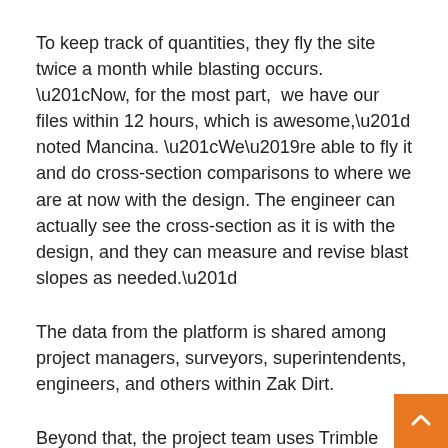To keep track of quantities, they fly the site twice a month while blasting occurs. “Now, for the most part,  we have our files within 12 hours, which is awesome,” noted Mancina. “We’re able to fly it and do cross-section comparisons to where we are at now with the design. The engineer can actually see the cross-section as it is with the design, and they can measure and revise blast slopes as needed.”
The data from the platform is shared among project managers, surveyors, superintendents, engineers, and others within Zak Dirt.
Beyond that, the project team uses Trimble Stratus to show project updates and relay progress reports to owners. “We’ll pull it up with them in the room and show them cross-sections or we’ll print the reports,” Mancina explained. From there, “we